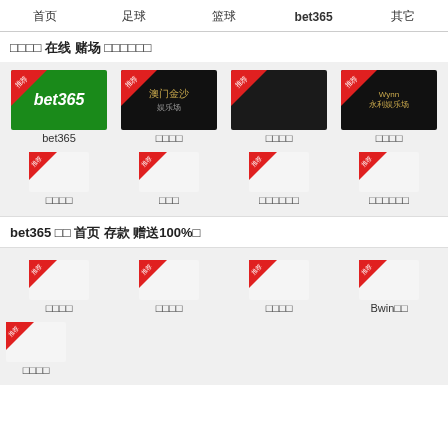首页  足球  篮球  bet365  其它
□□□□ 在线 赌场 □□□□□□
[Figure (screenshot): Grid of casino brand cards with red ribbon 推荐 badges: bet365 (green), 澳门金沙, dark card, Wynn 永利娱乐场]
bet365  澳门金沙  □□□□  □□□□
[Figure (screenshot): Small icon grid with 推荐 ribbons: □□□□, □□□, □□□□□□, □□□□□□]
bet365 □□ 首页 存款 赠送100%□
[Figure (screenshot): Small icon grid with 推荐 ribbons: □□□□, □□□□, □□□□, Bwin□□]
[Figure (screenshot): Small icon with 推荐 ribbon: □□□□]